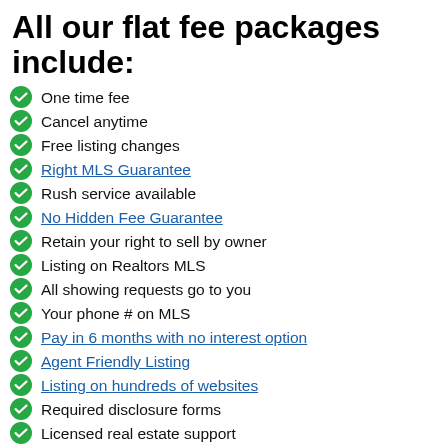All our flat fee packages include:
One time fee
Cancel anytime
Free listing changes
Right MLS Guarantee
Rush service available
No Hidden Fee Guarantee
Retain your right to sell by owner
Listing on Realtors MLS
All showing requests go to you
Your phone # on MLS
Pay in 6 months with no interest option
Agent Friendly Listing
Listing on hundreds of websites
Required disclosure forms
Licensed real estate support
Schedule a FREE 15 minute phone call